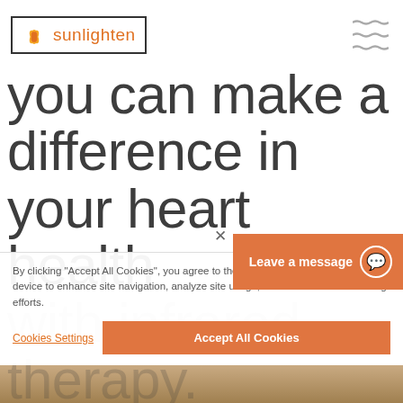[Figure (logo): Sunlighten logo with lotus flower icon and brand name in orange text inside a rectangular border]
you can make a difference in your heart health with infrared therapy.
By clicking "Accept All Cookies", you agree to the storing of cookies on your device to enhance site navigation, analyze site usage, and assist in our marketing efforts.
Cookies Settings
Accept All Cookies
Leave a message